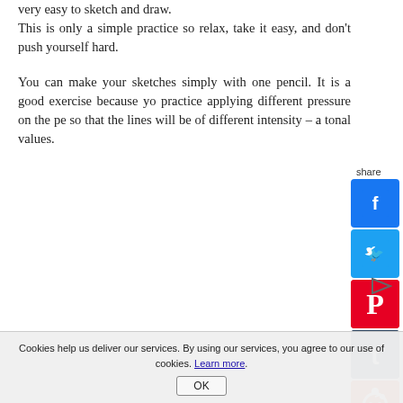very easy to sketch and draw. This is only a simple practice so relax, take it easy, and don't push yourself hard.
You can make your sketches simply with one pencil. It is a good exercise because you practice applying different pressure on the pencil so that the lines will be of different intensity – and tonal values.
[Figure (infographic): Social media sharing sidebar with icons for Facebook, Twitter, Pinterest, Tumblr, Reddit, and WhatsApp, plus a 'share' label at top]
[Figure (other): Play/next button triangle icon]
Cookies help us deliver our services. By using our services, you agree to our use of cookies. Learn more.
OK